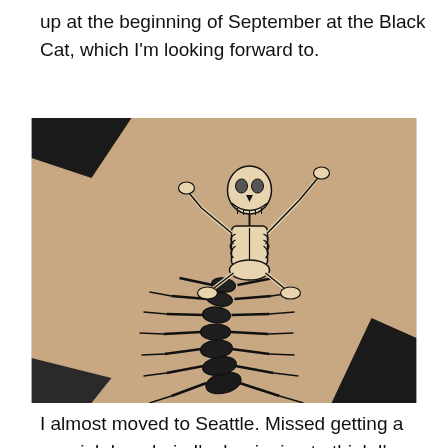up at the beginning of September at the Black Cat, which I'm looking forward to.
[Figure (photo): A photograph of a tattoo on someone's side/torso showing a dancing skeleton riding or merged with a large centipede, rendered in black ink on pale skin. The skeleton is positioned in the upper portion with arms raised, and the centipede's segmented body extends downward.]
I almost moved to Seattle. Missed getting a new job by a hair. I'm beginning to think I'm never going to get up there. My mom (who was a flight attendant until very recently)